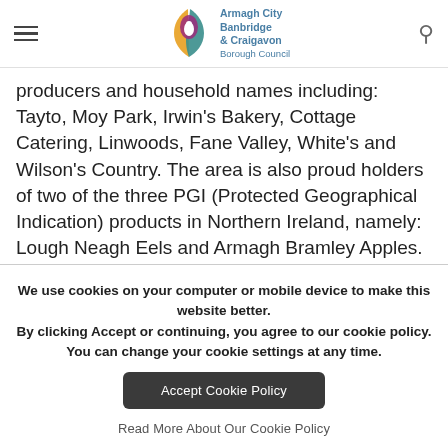Armagh City Banbridge & Craigavon Borough Council
producers and household names including: Tayto, Moy Park, Irwin's Bakery, Cottage Catering, Linwoods, Fane Valley, White's and Wilson's Country. The area is also proud holders of two of the three PGI (Protected Geographical Indication) products in Northern Ireland, namely: Lough Neagh Eels and Armagh Bramley Apples.
We use cookies on your computer or mobile device to make this website better.
By clicking Accept or continuing, you agree to our cookie policy. You can change your cookie settings at any time.
Accept Cookie Policy
Read More About Our Cookie Policy